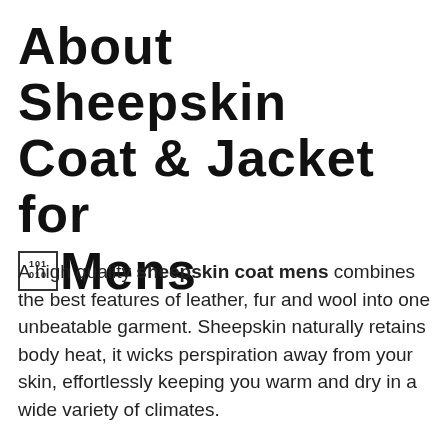About Sheepskin Coat & Jacket for Mens
A high quality sheepskin coat mens combines the best features of leather, fur and wool into one unbeatable garment. Sheepskin naturally retains body heat, it wicks perspiration away from your skin, effortlessly keeping you warm and dry in a wide variety of climates.
Mens Sheepskin Coat is a thermally regulating material, so it is naturally water resistant. Sheepskin is renowned for its breathability and moisture-wicking properties, which keep the body temperature regulated regardless of temperature fluctuations in the environment. Sheepskin coats for men come in a variety of fashionable styles with